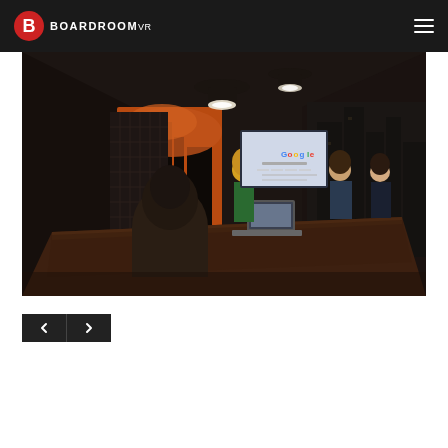BoardroomVR
[Figure (screenshot): Virtual reality boardroom meeting scene showing animated avatars of business people seated and standing around a conference table in a dark, modern room with pendant lights and a screen displaying Google, viewed from the perspective of a seated participant]
[Figure (other): Navigation previous/next arrow buttons (dark rectangles with left and right chevron arrows)]